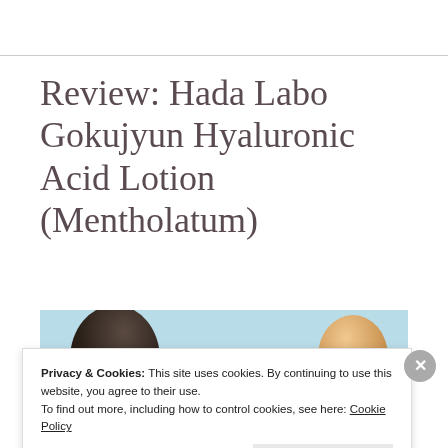Review: Hada Labo Gokujyun Hyaluronic Acid Lotion (Mentholatum)
[Figure (photo): Partial view of two skincare product bottles against a light blue background — a dark glass bottle on the left and a cream-colored pump bottle on the right]
Privacy & Cookies: This site uses cookies. By continuing to use this website, you agree to their use.
To find out more, including how to control cookies, see here: Cookie Policy